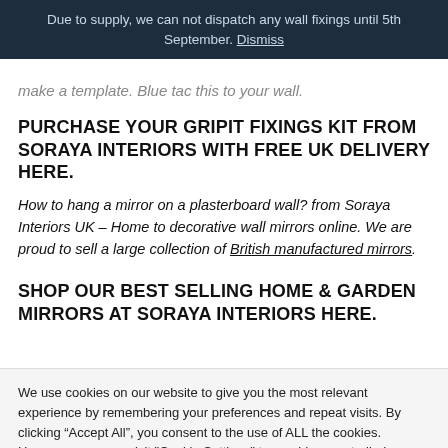Due to supply, we can not dispatch any wall fixings until 5th September. Dismiss
make a template. Blue tac this to your wall.
PURCHASE YOUR GRIPIT FIXINGS KIT FROM SORAYA INTERIORS WITH FREE UK DELIVERY HERE.
How to hang a mirror on a plasterboard wall? from Soraya Interiors UK – Home to decorative wall mirrors online. We are proud to sell a large collection of British manufactured mirrors.
SHOP OUR BEST SELLING HOME & GARDEN MIRRORS AT SORAYA INTERIORS HERE.
We use cookies on our website to give you the most relevant experience by remembering your preferences and repeat visits. By clicking "Accept All", you consent to the use of ALL the cookies. However, you may visit "Cookie Settings" to provide a controlled consent.